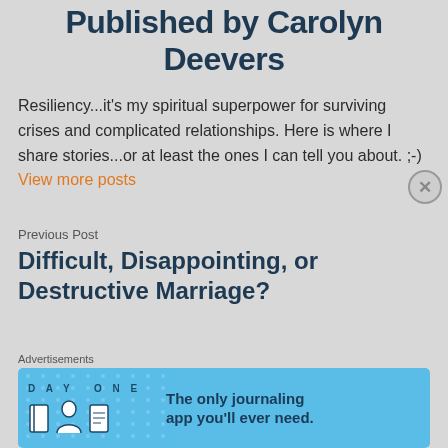Published by Carolyn Deevers
Resiliency...it's my spiritual superpower for surviving crises and complicated relationships. Here is where I share stories...or at least the ones I can tell you about. ;-) View more posts
Previous Post
Difficult, Disappointing, or Destructive Marriage?
[Figure (screenshot): Advertisement banner for DAY ONE journaling app with blue background, app icons, and tagline 'The only journaling app you'll ever need.']